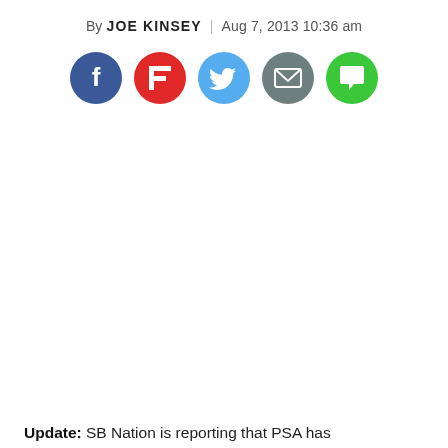By JOE KINSEY | Aug 7, 2013 10:36 am
[Figure (infographic): Social sharing icons: Facebook (blue circle), Flipboard (red circle with F), Twitter (blue circle with bird), Email (grey circle with envelope), Comments (green circle with speech bubble)]
Update: SB Nation is reporting that PSA has